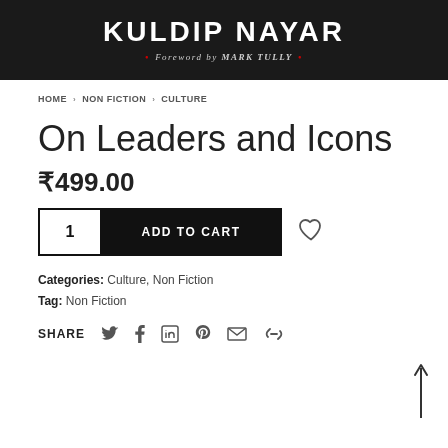[Figure (photo): Book cover header image with dark background showing 'KULDIP NAYAR' in large white text and 'Foreword by MARK TULLY' in italics with red dots]
HOME › NON FICTION › CULTURE
On Leaders and Icons
₹499.00
ADD TO CART
Categories: Culture, Non Fiction
Tag: Non Fiction
SHARE